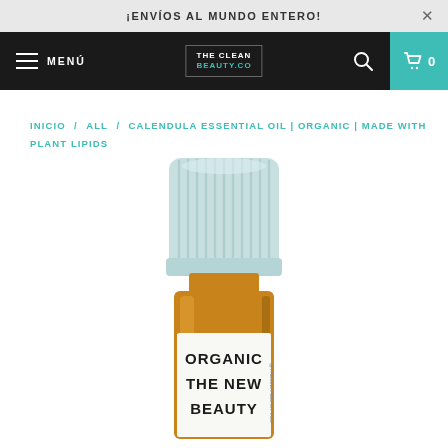¡ENVÍOS AL MUNDO ENTERO!
MENÚ | THE CLEAN BEAUTY.CO | 🔍 | 🛍 0
INICIO / ALL / CALENDULA ESSENTIAL OIL | ORGANIC | MADE WITH PLANT LIPIDS
[Figure (photo): Small essential oil bottle with light blue ribbed cap and amber-colored glass body. White label reads 'ORGANIC THE NEW BEAUTY' in bold black text with '@THECLEANBEAUTY.CO' in small text on side.]